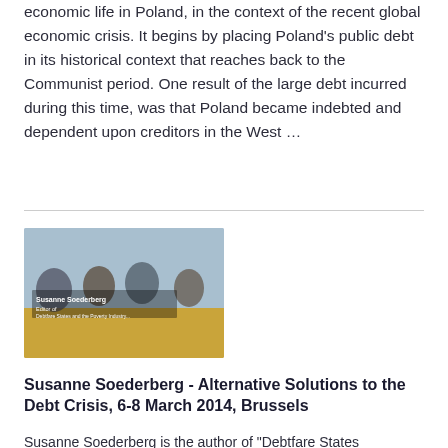economic life in Poland, in the context of the recent global economic crisis. It begins by placing Poland's public debt in its historical context that reaches back to the Communist period. One result of the large debt incurred during this time, was that Poland became indebted and dependent upon creditors in the West ...
[Figure (photo): A video thumbnail showing a conference panel with multiple participants seated at a table. A name overlay reads 'Susanne Soederberg' with title and affiliation text below. The lower portion of the image shows a gold/amber colored surface.]
Susanne Soederberg - Alternative Solutions to the Debt Crisis, 6-8 March 2014, Brussels
Susanne Soederberg is the author of "Debtfare States